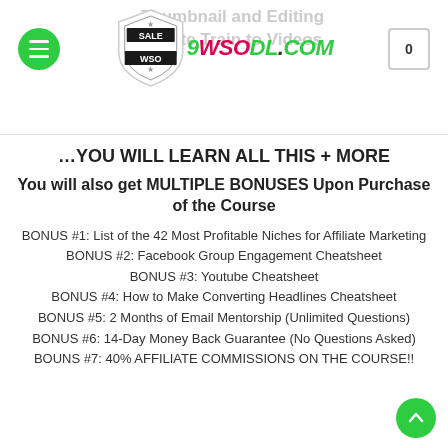9WSODL.COM — Sale WSO site header with logo and cart
…YOU WILL LEARN ALL THIS + MORE
You will also get MULTIPLE BONUSES Upon Purchase of the Course
BONUS #1: List of the 42 Most Profitable Niches for Affiliate Marketing
BONUS #2: Facebook Group Engagement Cheatsheet
BONUS #3: Youtube Cheatsheet
BONUS #4: How to Make Converting Headlines Cheatsheet
BONUS #5: 2 Months of Email Mentorship (Unlimited Questions)
BONUS #6: 14-Day Money Back Guarantee (No Questions Asked)
BOUNS #7: 40% AFFILIATE COMMISSIONS ON THE COURSE!!